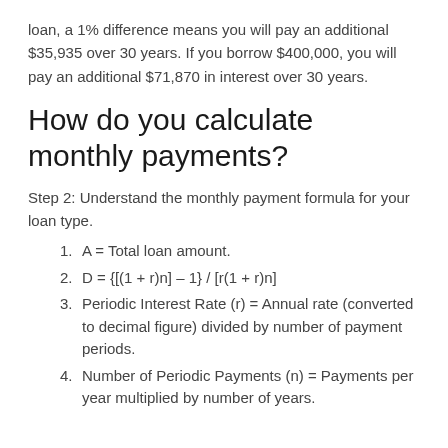loan, a 1% difference means you will pay an additional $35,935 over 30 years. If you borrow $400,000, you will pay an additional $71,870 in interest over 30 years.
How do you calculate monthly payments?
Step 2: Understand the monthly payment formula for your loan type.
A = Total loan amount.
D = {[(1 + r)n] – 1} / [r(1 + r)n]
Periodic Interest Rate (r) = Annual rate (converted to decimal figure) divided by number of payment periods.
Number of Periodic Payments (n) = Payments per year multiplied by number of years.